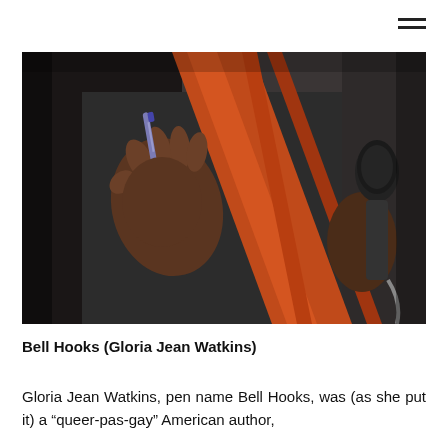[Figure (photo): Close-up photograph of a person wearing a dark outfit and an orange/red scarf, holding a pen in one hand and a microphone in the other hand. The image is cropped to show the torso and hands only.]
Bell Hooks (Gloria Jean Watkins)
Gloria Jean Watkins, pen name Bell Hooks, was (as she put it) a “queer-pas-gay” American author,